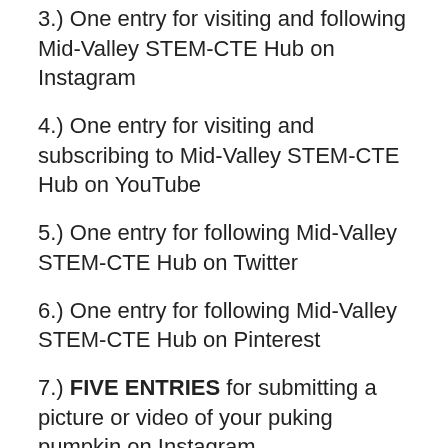3.) One entry for visiting and following Mid-Valley STEM-CTE Hub on Instagram
4.) One entry for visiting and subscribing to Mid-Valley STEM-CTE Hub on YouTube
5.) One entry for following Mid-Valley STEM-CTE Hub on Twitter
6.) One entry for following Mid-Valley STEM-CTE Hub on Pinterest
7.) FIVE ENTRIES for submitting a picture or video of your puking pumpkin on Instagram
8.) FIVE ENTRIES if you took park in Albany Parks & Recreations Trick-or-Treat Cruise at Bryant Park